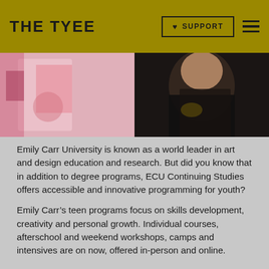THE TYEE | SUPPORT
[Figure (photo): Two-panel photo: left panel shows a person working with colorful artwork, right panel shows a person wearing a black floral dress with a yellow flower]
Emily Carr University is known as a world leader in art and design education and research. But did you know that in addition to degree programs, ECU Continuing Studies offers accessible and innovative programming for youth?
Emily Carr’s teen programs focus on skills development, creativity and personal growth. Individual courses, afterschool and weekend workshops, camps and intensives are on now, offered in-person and online.